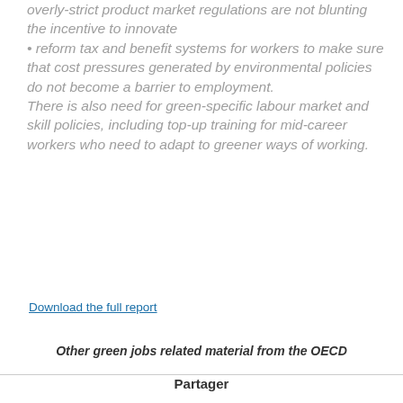overly-strict product market regulations are not blunting the incentive to innovate
• reform tax and benefit systems for workers to make sure that cost pressures generated by environmental policies do not become a barrier to employment.
There is also need for green-specific labour market and skill policies, including top-up training for mid-career workers who need to adapt to greener ways of working.
Download the full report
Other green jobs related material from the OECD
Partager